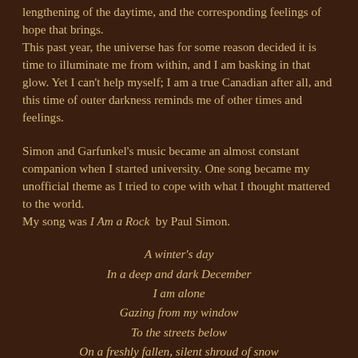lengthening of the daytime, and the corresponding feelings of hope that brings.
This past year, the universe has for some reason decided it is time to illuminate me from within, and I am basking in that glow. Yet I can't help myself; I am a true Canadian after all, and this time of outer darkness reminds me of other times and feelings.
Simon and Garfunkel's music became an almost constant companion when I started university. One song became my unofficial theme as I tried to cope with what I thought mattered to the world.
My song was I Am a Rock by Paul Simon.
A winter's day
In a deep and dark December
I am alone
Gazing from my window
To the streets below
On a freshly fallen, silent shroud of snow
I am a rock
I am an island